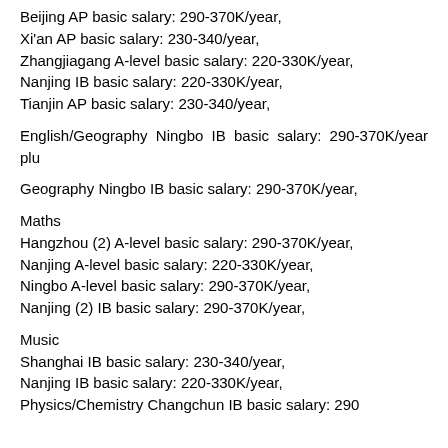Beijing AP basic salary: 290-370K/year,
Xi'an AP basic salary: 230-340/year,
Zhangjiagang A-level basic salary: 220-330K/year,
Nanjing IB basic salary: 220-330K/year,
Tianjin AP basic salary: 230-340/year,
English/Geography Ningbo IB basic salary: 290-370K/year plu
Geography Ningbo IB basic salary: 290-370K/year,
Maths
Hangzhou (2) A-level basic salary: 290-370K/year,
Nanjing A-level basic salary: 220-330K/year,
Ningbo A-level basic salary: 290-370K/year,
Nanjing (2) IB basic salary: 290-370K/year,
Music
Shanghai IB basic salary: 230-340/year,
Nanjing IB basic salary: 220-330K/year,
Physics/Chemistry Changchun IB basic salary: 290